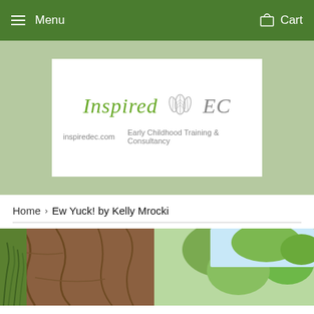Menu   Cart
[Figure (logo): Inspired EC logo with leaf illustration, inspiredec.com, Early Childhood Training & Consultancy]
Home › Ew Yuck! by Kelly Mrocki
[Figure (photo): Outdoor nature scene with large tree trunk and green foliage, partial product image]